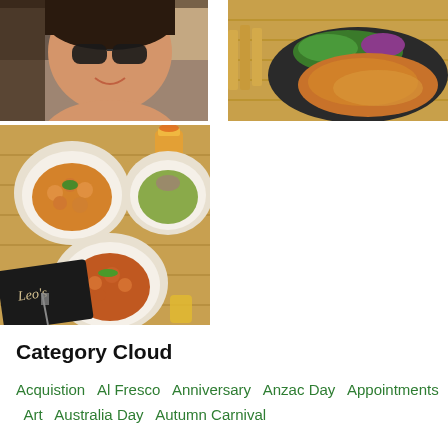[Figure (photo): Stylized/illustrated portrait of a woman wearing sunglasses, warm tones with graphic art effect, top-left position]
[Figure (photo): Photo of fried/crumbed chicken or schnitzel on a dark plate with coleslaw salad, top-right position]
[Figure (photo): Overhead photo of three bowls of food (gnocchi/chickpea dishes) on a wooden table with orange drinks, a Leo's branded menu/napkin, and cutlery. Bottom-left position.]
Category Cloud
Acquistion  Al Fresco  Anniversary  Anzac Day  Appointments  Art  Australia Day  Autumn Carnival